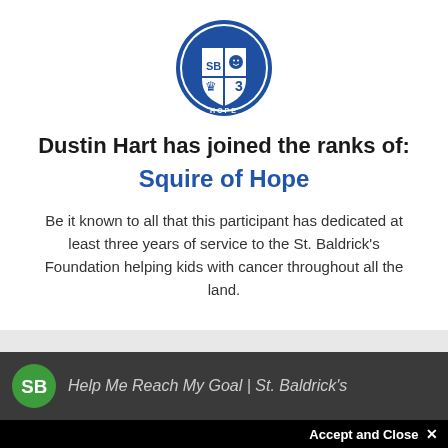[Figure (logo): St. Baldrick's Foundation circular shield logo with 'HOPE' text at bottom, blue and white colors]
Dustin Hart has joined the ranks of:
Squire of Hope
Be it known to all that this participant has dedicated at least three years of service to the St. Baldrick's Foundation helping kids with cancer throughout all the land.
[Figure (screenshot): Partial screenshot of St. Baldrick's website with green logo and italic text 'Help Me Reach My Goal | St. Baldrick's']
Accept and Close ×
Your browser settings do not allow cross-site tracking for advertising. Click on this page to allow AdRoll to use cross-site tracking to tailor ads to you. Learn more or opt out of this AdRoll tracking by clicking here. This message only appears once.